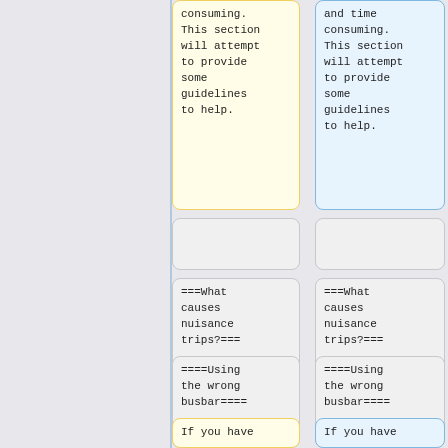consuming.
This section will attempt to provide some guidelines to help.
and time consuming.
This section will attempt to provide some guidelines to help.
===What causes nuisance trips?===
===What causes nuisance trips?===
====Using the wrong busbar====
====Using the wrong busbar====
If you have
If you have